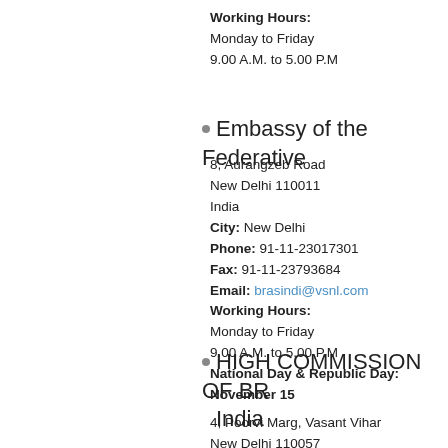Working Hours:
Monday to Friday
9.00 A.M. to 5.00 P.M
Embassy of the Federative
8, Aurangzeb Road
New Delhi 110011
India
City: New Delhi
Phone: 91-11-23017301
Fax: 91-11-23793684
Email: brasindi@vsnl.com
Working Hours:
Monday to Friday
9.00 A.M. to 5.00 P.M
National Day & Republic Day: November 15
HIGH COMMISSION OF BR India
4, Poorvi Marg, Vasant Vihar
New Delhi 110057